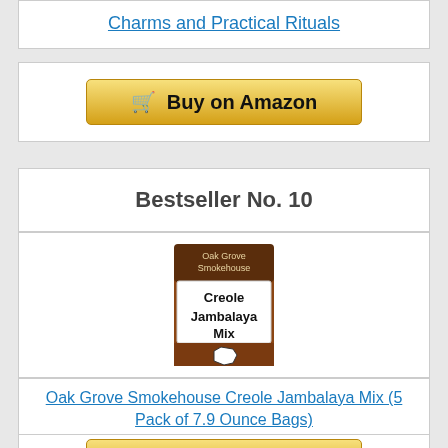Charms and Practical Rituals
[Figure (other): Buy on Amazon button]
Bestseller No. 10
[Figure (photo): Oak Grove Smokehouse Creole Jambalaya Mix product package photo]
Oak Grove Smokehouse Creole Jambalaya Mix (5 Pack of 7.9 Ounce Bags)
[Figure (other): Buy on Amazon button (partially visible)]